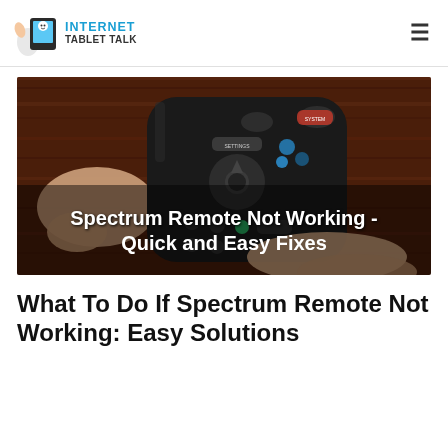INTERNET TABLET TALK
[Figure (photo): A hand holding a Spectrum TV remote control against a dark wood background, with white bold text overlay reading: Spectrum Remote Not Working - Quick and Easy Fixes]
What To Do If Spectrum Remote Not Working: Easy Solutions